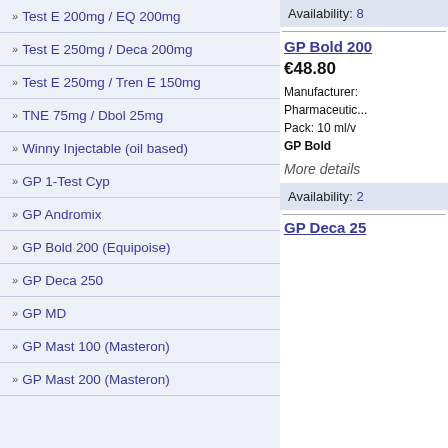Test E 200mg / EQ 200mg
Test E 250mg / Deca 200mg
Test E 250mg / Tren E 150mg
TNE 75mg / Dbol 25mg
Winny Injectable (oil based)
GP 1-Test Cyp
GP Andromix
GP Bold 200 (Equipoise)
GP Deca 250
GP MD
GP Mast 100 (Masteron)
GP Mast 200 (Masteron)
Availability: 8
GP Bold 200
€48.80
Manufacturer: Pharmaceutic... Pack: 10 ml/v GP Bold
More details
Availability: 2
GP Deca 250